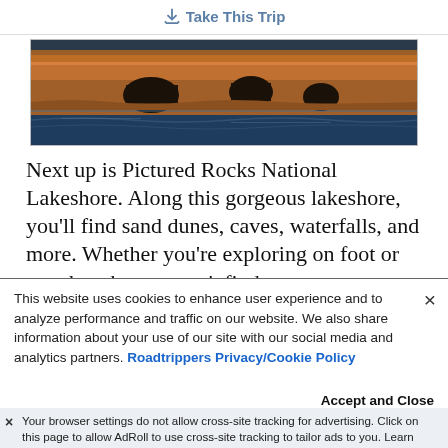Take This Trip
[Figure (photo): Scenic photo of Pictured Rocks National Lakeshore showing sandstone cliffs with arches over a blue-grey lake]
Next up is Pictured Rocks National Lakeshore. Along this gorgeous lakeshore, you'll find sand dunes, caves, waterfalls, and more. Whether you're exploring on foot or on a kayak, you won't find a more memorable lake
This website uses cookies to enhance user experience and to analyze performance and traffic on our website. We also share information about your use of our site with our social media and analytics partners. Roadtrippers Privacy/Cookie Policy
Accept and Close
Your browser settings do not allow cross-site tracking for advertising. Click on this page to allow AdRoll to use cross-site tracking to tailor ads to you. Learn more or opt out of this AdRoll tracking by clicking here. This message only appears once.